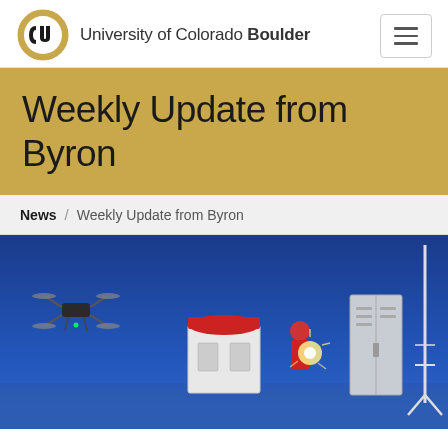[Figure (logo): University of Colorado Buffalo logo (CU block C with buffalo)]
University of Colorado Boulder
Weekly Update from Byron
News / Weekly Update from Byron
[Figure (photo): Night-time outdoor photo showing a drone (UAV) in flight on the left, a red-capped white equipment box in the center, a researcher in a red jacket with a light source, and a tall metal equipment cabinet on the right, all against a vivid blue twilight sky on a snowy or icy surface.]